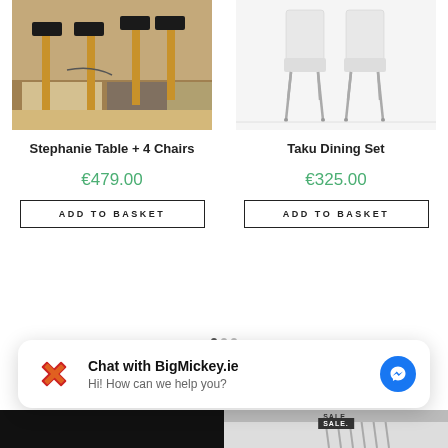[Figure (photo): Wooden bar stools with black cushions on a patterned rug, furniture store product photo]
[Figure (photo): White modern chairs with chrome legs on white background, furniture store product photo]
Stephanie Table + 4 Chairs
Taku Dining Set
€479.00
€325.00
ADD TO BASKET
ADD TO BASKET
[Figure (screenshot): Chat widget from BigMickey.ie with messenger icon. Text: Chat with BigMickey.ie / Hi! How can we help you?]
[Figure (photo): Bottom row: partial product images visible below the chat widget]